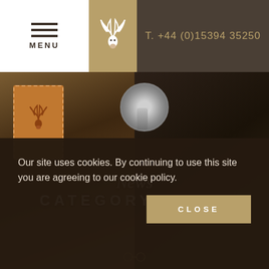MENU   T. +44 (0)15394 35250
[Figure (photo): Hero image showing leather goods including a tan leather tag with deer motif, a metal zipper, and dark waxed fabric/bag on a wooden surface]
News
CATEGORY: NEWS
Our site uses cookies. By continuing to use this site you are agreeing to our cookie policy.
CLOSE